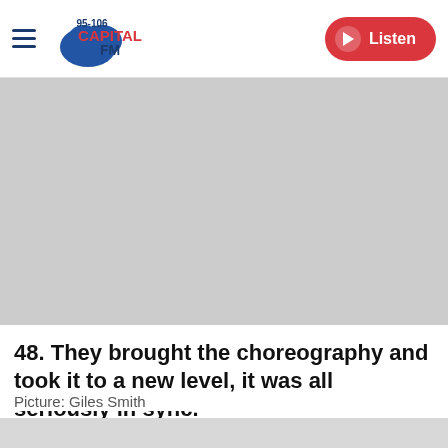95-106 Capital FM | Listen
[Figure (photo): Gray placeholder image area for article photo]
48. They brought the choreography and took it to a new level, it was all seriously in sync.
Picture: Giles Smith